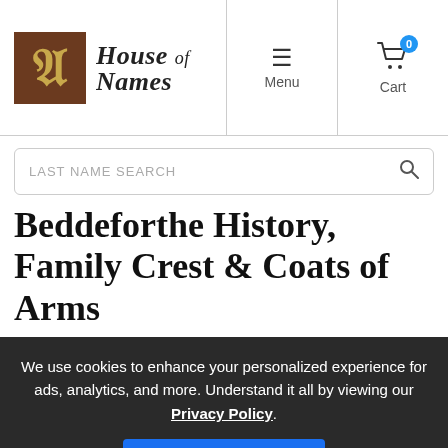House of Names — Menu | Cart (0)
LAST NAME SEARCH
Beddeforthe History, Family Crest & Coats of Arms
We use cookies to enhance your personalized experience for ads, analytics, and more. Understand it all by viewing our Privacy Policy.
Accept & Continue